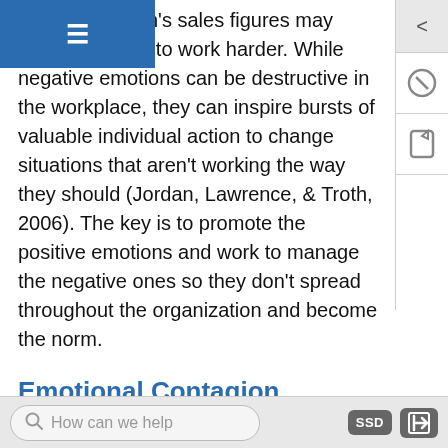another division's sales figures may inspire a vision to work harder. While negative emotions can be destructive in the workplace, they can inspire bursts of valuable individual action to change situations that aren't working the way they should (Jordan, Lawrence, & Troth, 2006). The key is to promote the positive emotions and work to manage the negative ones so they don't spread throughout the organization and become the norm.
Emotional Contagion
Both positive and negative emotions can be contagious, with the spillover of negative emotions lasting longer than positive emotions.[1] As you may have experienced in the past, contagion can be